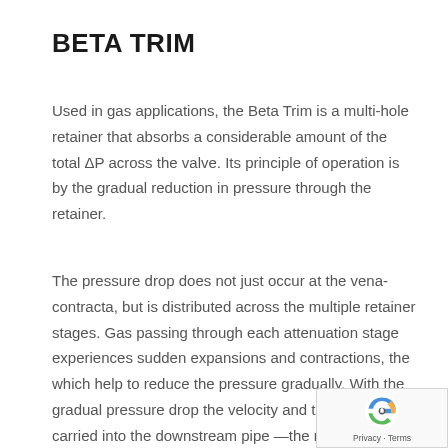BETA TRIM
Used in gas applications, the Beta Trim is a multi-hole retainer that absorbs a considerable amount of the total ΔP across the valve. Its principle of operation is by the gradual reduction in pressure through the retainer.
The pressure drop does not just occur at the vena-contracta, but is distributed across the multiple retainer stages. Gas passing through each attenuation stage experiences sudden expansions and contractions, the which help to reduce the pressure gradually. With the gradual pressure drop the velocity and turbulence carried into the downstream pipe —the main source of noise